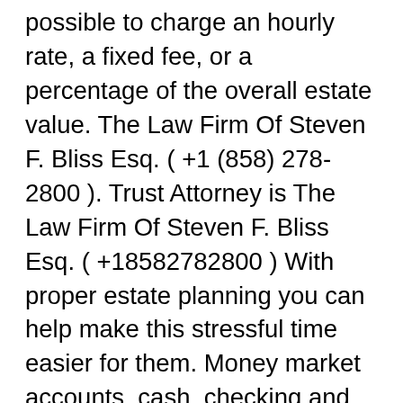possible to charge an hourly rate, a fixed fee, or a percentage of the overall estate value. The Law Firm Of Steven F. Bliss Esq. ( +1 (858) 278-2800 ). Trust Attorney is The Law Firm Of Steven F. Bliss Esq. ( +18582782800 ) With proper estate planning you can help make this stressful time easier for them. Money market accounts, cash, checking and savings accounts. Can a trust be broken after death? Generally, no. Most living or revocable trusts become irrevocable upon the death of the trust's maker or makers. This means that the trust cannot be altered in any way once the successor trustee takes over management of it. With careful planning, you can set up an estate that avoids probate. Versatile What happens to property when someone dies without relatives? If no relatives can be found, the entire estate goes to the state. Usually, only